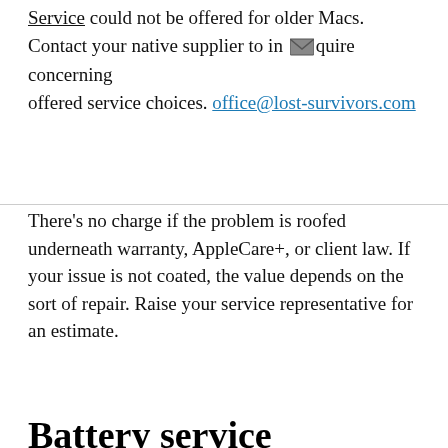Service could not be offered for older Macs. Contact your native supplier to inquire concerning offered service choices. office@lost-survivors.com
There's no charge if the problem is roofed underneath warranty, AppleCare+, or client law. If your issue is not coated, the value depends on the sort of repair. Raise your service representative for an estimate.
Battery service
If you are experiencing a problem with your battery, your mack notebook won't need a repair. The following pointers show you ways to maximize your battery performance. If you cannot activate